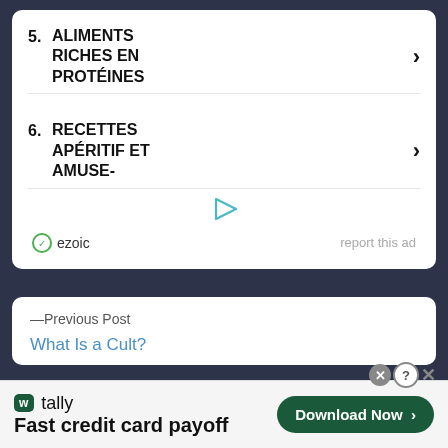5. ALIMENTS RICHES EN PROTÉINES
6. RECETTES APÉRITIF ET AMUSE-
ezoic   report this ad
— Previous Post
What Is a Cult?
[Figure (infographic): Tally app advertisement banner: 'w tally / Fast credit card payoff' with 'Download Now >' button]
Fast credit card payoff